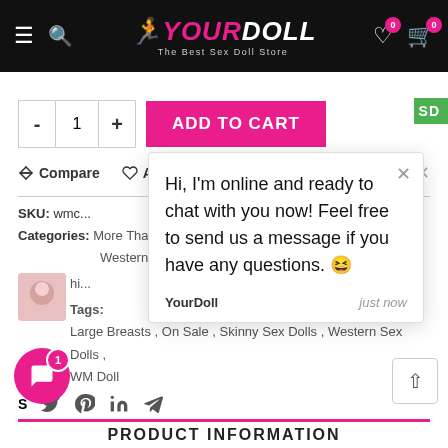YourDoll – The Best Sex Doll Store
- 1 + ADD TO CART
Compare   Add to wishlist
SKU: wmc...
Categories: More Than... Western S...
Tags: Large Breasts, On Sale, Skinny Sex Dolls, Western Sex Dolls, WM Doll
[Figure (screenshot): Chat popup with message: Hi, I'm online and ready to chat with you now! Feel free to send us a message if you have any questions. 😄 — from YourDoll, just now]
Share icons: Twitter, Pinterest, LinkedIn, Telegram
PRODUCT INFORMATION